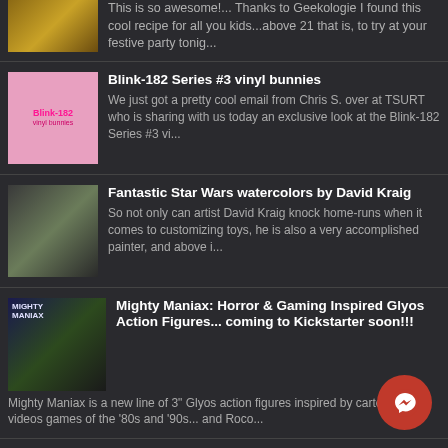[Figure (photo): Partial thumbnail of drinks/cocktails at top]
This is so awesome!... Thanks to Geekologie I found this cool recipe for all you kids...above 21 that is, to try at your festive party tonig...
[Figure (photo): Blink-182 vinyl bunnies thumbnail with pink logo]
Blink-182 Series #3 vinyl bunnies
We just got a pretty cool email from Chris S. over at TSURT who is sharing with us today an exclusive look at the Blink-182 Series #3 vi...
[Figure (photo): Fantastic Star Wars watercolors thumbnail]
Fantastic Star Wars watercolors by David Kraig
So not only can artist David Kraig knock home-runs when it comes to customizing toys, he is also a very accomplished painter, and above i...
[Figure (photo): Mighty Maniax horror gaming action figures thumbnail]
Mighty Maniax: Horror & Gaming Inspired Glyos Action Figures... coming to Kickstarter soon!!!
Mighty Maniax is a new line of 3" Glyos action figures inspired by cartoons and videos games of the '80s and '90s... and Roco...
[Figure (photo): Falcontoys Pop-Art Frosted Han Solo resin figures thumbnail]
Falcontoys's “Pop-Art: Frosted Han Solo” Resin Action Figures!
Taking the iconic image of Han Solo frozen in and transforming it into something slightly askew has become standard within ou...